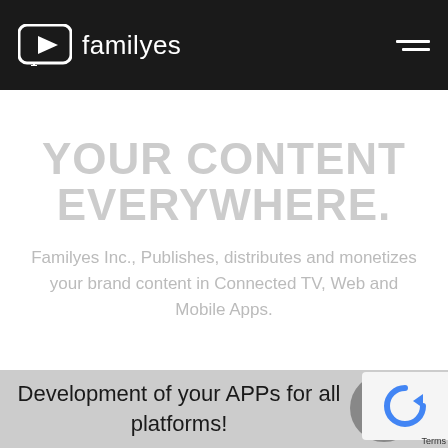familyes
YOUR CONTENT EVERYWHERE.
Familyes Inc., Publishes, distributes and monetizes your brand content in Connected TV, Web and Mobile Apps.
Development of your APPs for all platforms!